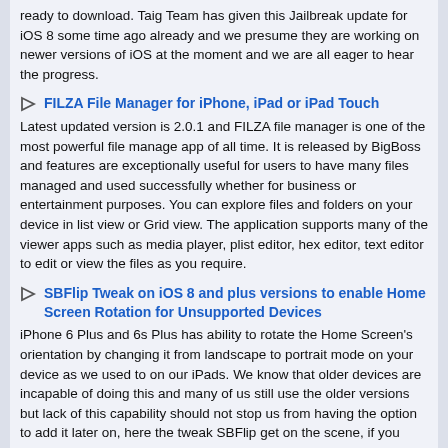ready to download. Taig Team has given this Jailbreak update for iOS 8 some time ago already and we presume they are working on newer versions of iOS at the moment and we are all eager to hear the progress.
FILZA File Manager for iPhone, iPad or iPad Touch
Latest updated version is 2.0.1 and FILZA file manager is one of the most powerful file manage app of all time. It is released by BigBoss and features are exceptionally useful for users to have many files managed and used successfully whether for business or entertainment purposes. You can explore files and folders on your device in list view or Grid view. The application supports many of the viewer apps such as media player, plist editor, hex editor, text editor to edit or view the files as you require.
SBFlip Tweak on iOS 8 and plus versions to enable Home Screen Rotation for Unsupported Devices
iPhone 6 Plus and 6s Plus has ability to rotate the Home Screen's orientation by changing it from landscape to portrait mode on your device as we used to on our iPads. We know that older devices are incapable of doing this and many of us still use the older versions but lack of this capability should not stop us from having the option to add it later on, here the tweak SBFlip get on the scene, if you have a jailbroken device on iOS 8 and would like your device to act just similar to 6/6s or 6/6s Plus version of iPhones in relation to rotation of your Home Screen then you better get the SBFlip tweak on your Cydia.